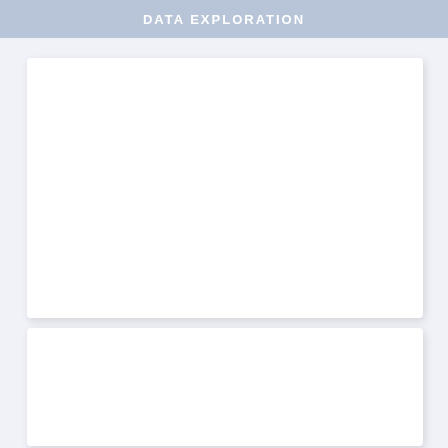DATA EXPLORATION
[Figure (other): Empty white card panel (top), likely placeholder for a data exploration chart or visualization]
[Figure (other): Empty white card panel (bottom), likely placeholder for a second data exploration chart or visualization]